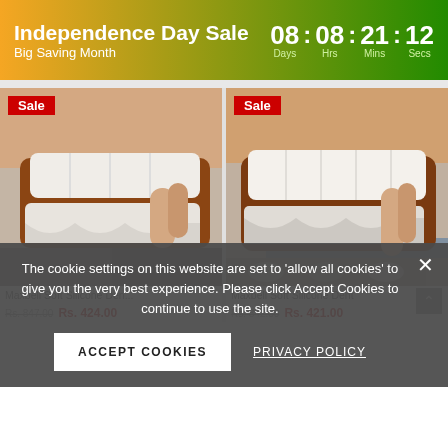Independence Day Sale — Big Saving Month | 08 : 08 : 21 : 12 Days Hrs Mins Secs
[Figure (photo): Close-up photo of a person fitting a soft silicone dental veneer/snap-on denture over their lower teeth, with a red 'Sale' badge overlay]
[Figure (photo): Close-up photo of a person fitting a soft silicone dental veneer/snap-on denture over their lower teeth, with a red 'Sale' badge overlay]
Maxbell Soft Silicone Dent...
Maxbell Soft Silicone Dent...
Rs. 847.00  Rs. 424.00
Rs. 842.00  Rs. 421.00
The cookie settings on this website are set to 'allow all cookies' to give you the very best experience. Please click Accept Cookies to continue to use the site.
ACCEPT COOKIES
PRIVACY POLICY
ADD TO CART